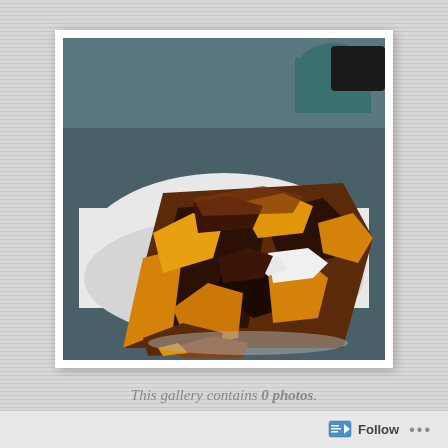[Figure (photo): A Polaroid-style photo of a slice of marble or swirl cake/brownie with yellow-orange and dark chocolate layers on a white plate, photographed in dim indoor lighting.]
This gallery contains 0 photos.
Follow ···